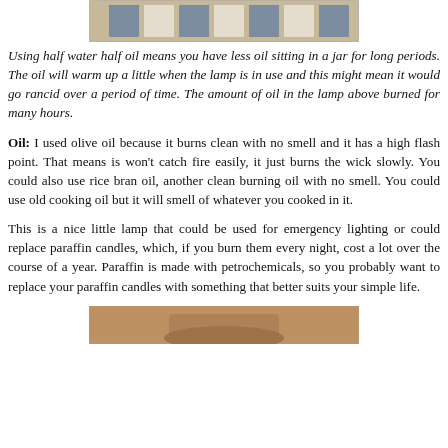[Figure (photo): Top portion of a photo showing what appears to be a jar or lamp with striped fabric in background]
Using half water half oil means you have less oil sitting in a jar for long periods. The oil will warm up a little when the lamp is in use and this might mean it would go rancid over a period of time. The amount of oil in the lamp above burned for many hours.
Oil: I used olive oil because it burns clean with no smell and it has a high flash point. That means is won't catch fire easily, it just burns the wick slowly. You could also use rice bran oil, another clean burning oil with no smell. You could use old cooking oil but it will smell of whatever you cooked in it.
This is a nice little lamp that could be used for emergency lighting or could replace paraffin candles, which, if you burn them every night, cost a lot over the course of a year. Paraffin is made with petrochemicals, so you probably want to replace your paraffin candles with something that better suits your simple life.
[Figure (photo): Bottom portion showing another photo of the lamp partially visible at bottom of page]